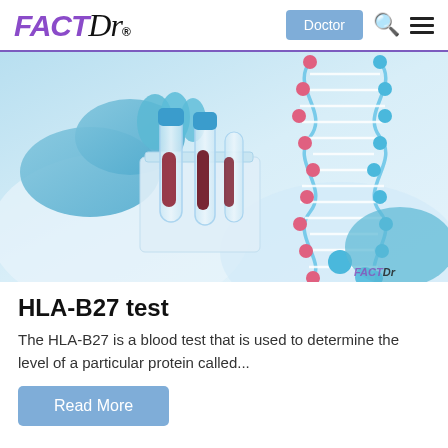FACTDr | Doctor | Search | Menu
[Figure (photo): Medical professional wearing blue gloves handling blood sample test tubes in a rack, with a decorative DNA double helix graphic overlaid on the right side of the image. FACTDr watermark in bottom right corner.]
HLA-B27 test
The HLA-B27 is a blood test that is used to determine the level of a particular protein called...
Read More